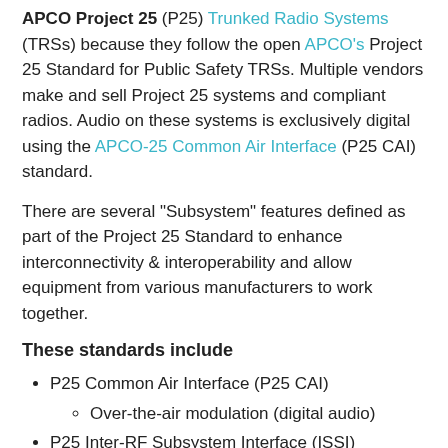APCO Project 25 (P25) Trunked Radio Systems (TRSs) because they follow the open APCO's Project 25 Standard for Public Safety TRSs. Multiple vendors make and sell Project 25 systems and compliant radios. Audio on these systems is exclusively digital using the APCO-25 Common Air Interface (P25 CAI) standard.
There are several "Subsystem" features defined as part of the Project 25 Standard to enhance interconnectivity & interoperability and allow equipment from various manufacturers to work together.
These standards include
P25 Common Air Interface (P25 CAI)
Over-the-air modulation (digital audio)
P25 Inter-RF Subsystem Interface (ISSI)
The Inter-RF Subsystem Interface (ISSI) standard allows P25 systems from different manufacturers